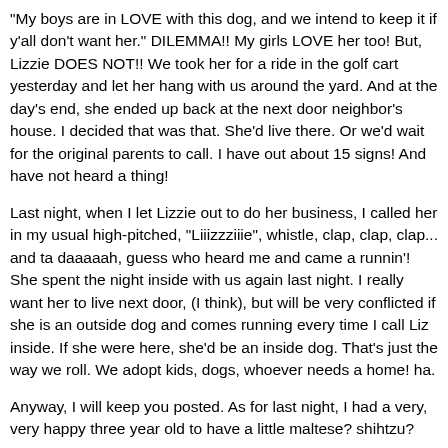"My boys are in LOVE with this dog, and we intend to keep it if y'all don't want her." DILEMMA!! My girls LOVE her too! But, Lizzie DOES NOT!! We took her for a ride in the golf cart yesterday and let her hang with us around the yard. And at the day's end, she ended up back at the next door neighbor's house. I decided that was that. She'd live there. Or we'd wait for the original parents to call. I have out about 15 signs! And have not heard a thing!
Last night, when I let Lizzie out to do her business, I called her in my usual high-pitched, "Liiizzziiie", whistle, clap, clap, clap... and ta daaaaah, guess who heard me and came a runnin'! She spent the night inside with us again last night. I really want her to live next door, (I think), but will be very conflicted if she is an outside dog and comes running every time I call Liz inside. If she were here, she'd be an inside dog. That's just the way we roll. We adopt kids, dogs, whoever needs a home! ha.
Anyway, I will keep you posted. As for last night, I had a very, very happy three year old to have a little maltese? shihtzu? Anyone? anyone? lying at the foot of her bed!!